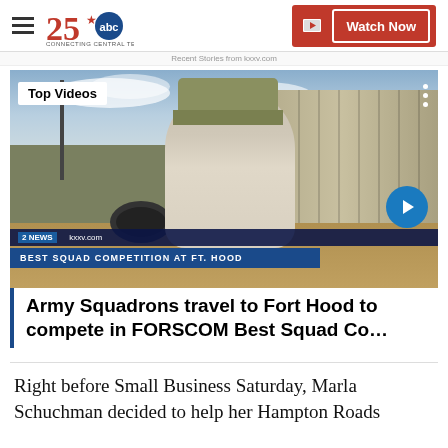25 abc CONNECTING CENTRAL TEXAS | Watch Now
Recent Stories from kxxv.com
[Figure (screenshot): Video thumbnail showing a soldier in camouflage cap and white t-shirt standing outside near a metal building. Overlay labels: 'Top Videos', 'BEST SQUAD COMPETITION AT FT. HOOD', news ticker bar, arrow navigation circle.]
Army Squadrons travel to Fort Hood to compete in FORSCOM Best Squad Co…
Right before Small Business Saturday, Marla Schuchman decided to help her Hampton Roads